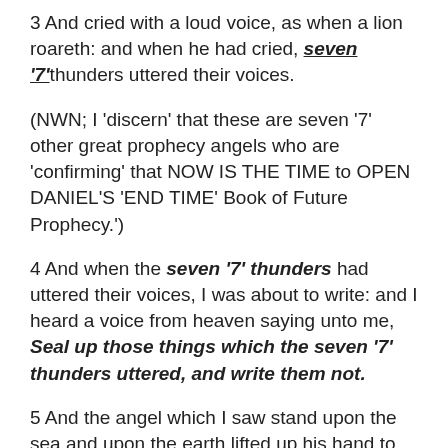3 And cried with a loud voice, as when a lion roareth: and when he had cried, seven '7' thunders uttered their voices.
(NWN; I 'discern' that these are seven '7' other great prophecy angels who are 'confirming' that NOW IS THE TIME to OPEN DANIEL'S 'END TIME' Book of Future Prophecy.')
4 And when the seven '7' thunders had uttered their voices, I was about to write: and I heard a voice from heaven saying unto me, Seal up those things which the seven '7' thunders uttered, and write them not.
5 And the angel which I saw stand upon the sea and upon the earth lifted up his hand to heaven,
6 And sware by him that liveth for ever and ever, who created heaven, and the things that therein are, and the earth, and the things that therein are, and the sea